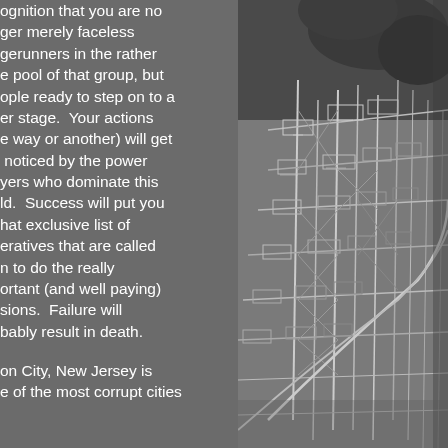ognition that you are no ger merely faceless gerunners in the rather e pool of that group, but ople ready to step on to a er stage.  Your actions e way or another) will get  noticed by the power yers who dominate this ld.  Success will put you hat exclusive list of eratives that are called n to do the really ortant (and well paying) sions.  Failure will bably result in death.
on City, New Jersey is e of the most corrupt cities
[Figure (illustration): Black and white architectural or industrial sketch/illustration showing a complex structure with scaffolding, beams, and construction elements, rendered in a detailed line-art style against a dark background.]